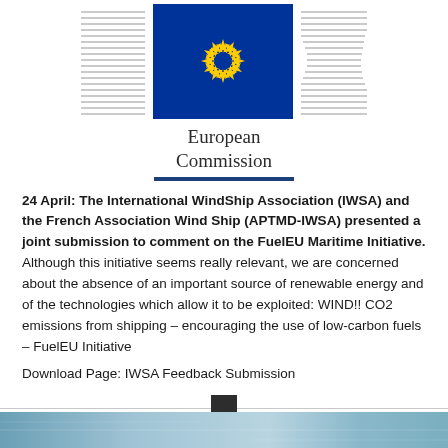[Figure (logo): European Commission logo: EU flag (blue background with circle of 12 yellow stars) flanked by horizontal grey lines pattern on left and right, with 'European Commission' text below and a blue horizontal bar underneath]
24 April: The International WindShip Association (IWSA) and the French Association Wind Ship (APTMD-IWSA) presented a joint submission to comment on the FuelEU Maritime Initiative. Although this initiative seems really relevant, we are concerned about the absence of an important source of renewable energy and of the technologies which allow it to be exploited: WIND!! CO2 emissions from shipping – encouraging the use of low-carbon fuels – FuelEU Initiative
Download Page: IWSA Feedback Submission
[Figure (photo): Bottom strip showing partial image of a ship or maritime scene]